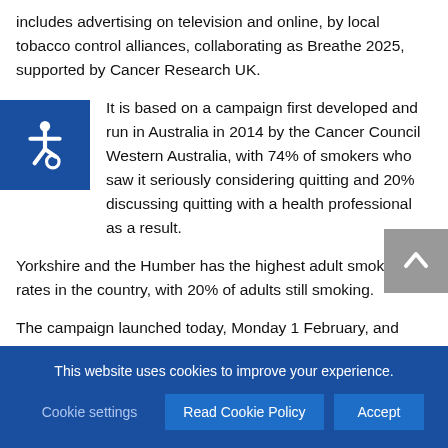includes advertising on television and online, by local tobacco control alliances, collaborating as Breathe 2025, supported by Cancer Research UK.
It is based on a campaign first developed and run in Australia in 2014 by the Cancer Council Western Australia, with 74% of smokers who saw it seriously considering quitting and 20% discussing quitting with a health professional as a result.
Yorkshire and the Humber has the highest adult smoking rates in the country, with 20% of adults still smoking.
The campaign launched today, Monday 1 February, and runs throughout the month. The campaign website is
[Figure (other): Blue accessibility widget icon in top-left corner showing wheelchair symbol]
[Figure (other): Grey scroll-to-top button with upward arrow in bottom-right corner]
This website uses cookies to improve your experience.
Cookie settings | Read Cookie Policy | Accept